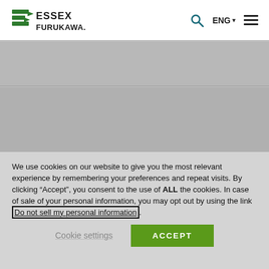Essex Furukawa — ENG navigation header with search, language selector, and menu icons
[Figure (screenshot): Grey placeholder content area section 1]
[Figure (screenshot): Grey placeholder content area section 2]
We use cookies on our website to give you the most relevant experience by remembering your preferences and repeat visits. By clicking “Accept”, you consent to the use of ALL the cookies. In case of sale of your personal information, you may opt out by using the link Do not sell my personal information.
Cookie settings  ACCEPT